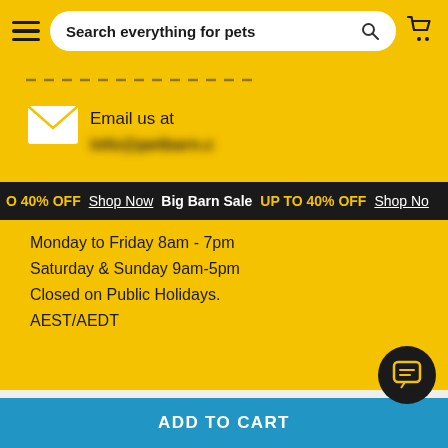Search everything for pets
Email us at
0 40% OFF  Shop Now  Big Barn Sale  UP TO 40% OFF  Shop Now
Monday to Friday 8am - 7pm
Saturday & Sunday 9am-5pm
Closed on Public Holidays.
AEST/AEDT
Terms & conditions
Privacy policy
Cookie statement
Privacy notice
ADD TO CART